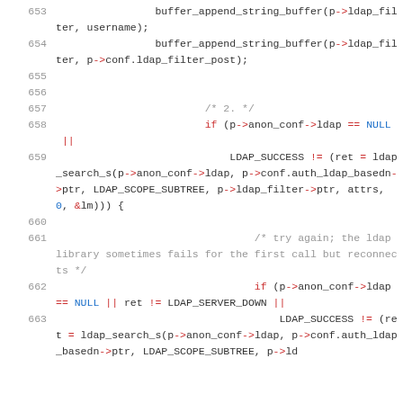[Figure (screenshot): Source code listing showing C code lines 653-663 involving LDAP buffer operations and search calls, with syntax highlighting: red for keywords/operators, blue for NULL and numeric literals, gray for line numbers and comments.]